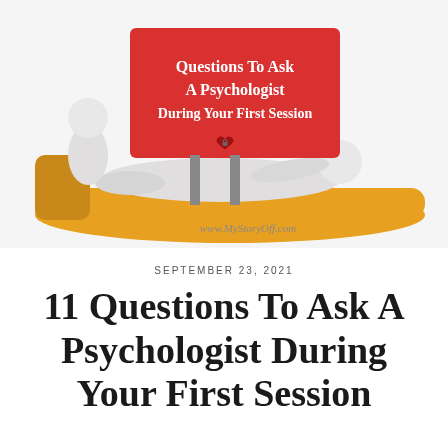[Figure (illustration): 3D illustration of a white figure lying on a couch/chaise lounge in orange, with another white figure seated behind. A red sign/billboard in front reads 'Questions To Ask A Psychologist During Your First Session' with a small heart lock icon. Text at the bottom reads 'www.MyStoryOff.com'. The scene depicts a therapy session.]
SEPTEMBER 23, 2021
11 Questions To Ask A Psychologist During Your First Session